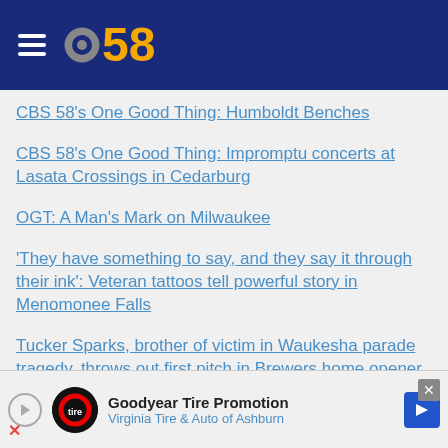[Figure (logo): CBS 58 logo with hamburger menu on dark blue header background]
CBS 58's One Good Thing: Humboldt Benches
CBS 58's One Good Thing: Impromptu concerts at Lasata Crossings in Cedarburg
OGT: A Man's Mark on Milwaukee
'They have something to say, and they say it through their ink': Veteran tattoos tell powerful story in Menomonee Falls
Tucker Sparks, brother of victim in Waukesha parade tragedy, throws out first pitch in Brewers home opener
CBS 58's One Good Thing: Warrior Ink Photo Exhibit
[Figure (screenshot): Goodyear Tire Promotion advertisement banner for Virginia Tire & Auto of Ashburn]